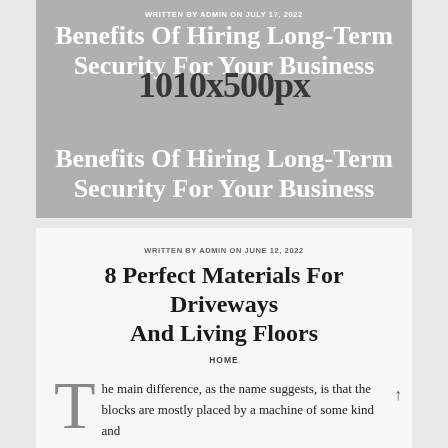[Figure (other): Gray placeholder image with white text overlay showing blog post title about hiring long-term security, with image dimension text '1010x500px' overlaid]
WRITTEN BY ADMIN ON JULY 17, 2022
Benefits Of Hiring Long-Term Security For Your Business
WRITTEN BY ADMIN ON JUNE 12, 2022
8 Perfect Materials For Driveways And Living Floors
HOME
The main difference, as the name suggests, is that the blocks are mostly placed by a machine of some kind and